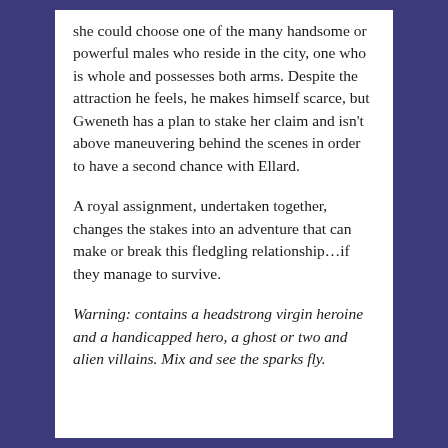she could choose one of the many handsome or powerful males who reside in the city, one who is whole and possesses both arms. Despite the attraction he feels, he makes himself scarce, but Gweneth has a plan to stake her claim and isn't above maneuvering behind the scenes in order to have a second chance with Ellard.
A royal assignment, undertaken together, changes the stakes into an adventure that can make or break this fledgling relationship...if they manage to survive.
Warning: contains a headstrong virgin heroine and a handicapped hero, a ghost or two and alien villains. Mix and see the sparks fly.